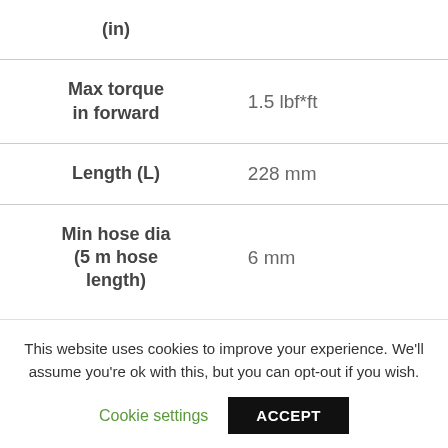| Attribute | Value |
| --- | --- |
| (in) |  |
| Max torque in forward | 1.5 lbf*ft |
| Length (L) | 228 mm |
| Min hose dia (5 m hose length) | 6 mm |
This website uses cookies to improve your experience. We'll assume you're ok with this, but you can opt-out if you wish.
Cookie settings   ACCEPT